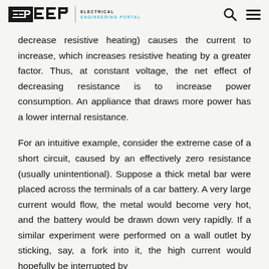EEP | ELECTRICAL ENGINEERING PORTAL
decrease resistive heating) causes the current to increase, which increases resistive heating by a greater factor. Thus, at constant voltage, the net effect of decreasing resistance is to increase power consumption. An appliance that draws more power has a lower internal resistance.
For an intuitive example, consider the extreme case of a short circuit, caused by an effectively zero resistance (usually unintentional). Suppose a thick metal bar were placed across the terminals of a car battery. A very large current would flow, the metal would become very hot, and the battery would be drawn down very rapidly. If a similar experiment were performed on a wall outlet by sticking, say, a fork into it, the high current would hopefully be interrupted by